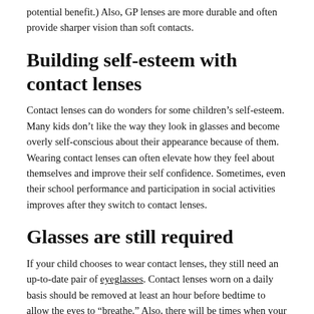potential benefit.) Also, GP lenses are more durable and often provide sharper vision than soft contacts.
Building self-esteem with contact lenses
Contact lenses can do wonders for some children’s self-esteem. Many kids don’t like the way they look in glasses and become overly self-conscious about their appearance because of them. Wearing contact lenses can often elevate how they feel about themselves and improve their self confidence. Sometimes, even their school performance and participation in social activities improves after they switch to contact lenses.
Glasses are still required
If your child chooses to wear contact lenses, they still need an up-to-date pair of eyeglasses. Contact lenses worn on a daily basis should be removed at least an hour before bedtime to allow the eyes to “breathe.” Also, there will be times when your child may want to wear their glasses instead of contact lenses. And contact lenses should be removed immediately any time they cause discomfort or eye redness.
Don’t push contacts on your kids